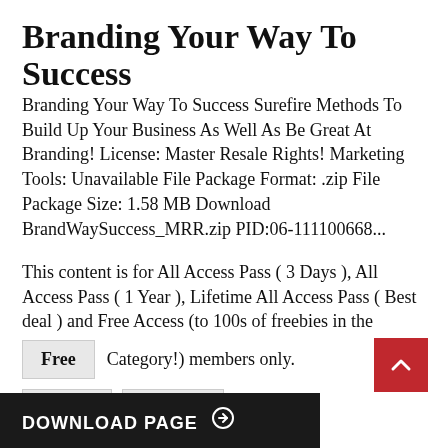Branding Your Way To Success
Branding Your Way To Success Surefire Methods To Build Up Your Business As Well As Be Great At Branding! License: Master Resale Rights! Marketing Tools: Unavailable File Package Format: .zip File Package Size: 1.58 MB Download BrandWaySuccess_MRR.zip PID:06-111100668...
This content is for All Access Pass ( 3 Days ), All Access Pass ( 1 Year ), Lifetime All Access Pass ( Best deal ) and Free Access (to 100s of freebies in the Category!) members only.
Free
Log In
Register
DOWNLOAD PAGE →